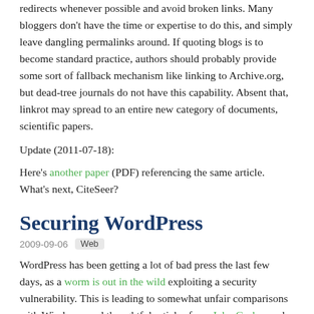redirects whenever possible and avoid broken links. Many bloggers don't have the time or expertise to do this, and simply leave dangling permalinks around. If quoting blogs is to become standard practice, authors should probably provide some sort of fallback mechanism like linking to Archive.org, but dead-tree journals do not have this capability. Absent that, linkrot may spread to an entire new category of documents, scientific papers.
Update (2011-07-18):
Here's another paper (PDF) referencing the same article. What's next, CiteSeer?
Securing WordPress
2009-09-06   Web
WordPress has been getting a lot of bad press the last few days, as a worm is out in the wild exploiting a security vulnerability. This is leading to somewhat unfair comparisons with Windows, and thoughtful articles from John Gruber and Maciej Ceglowski.